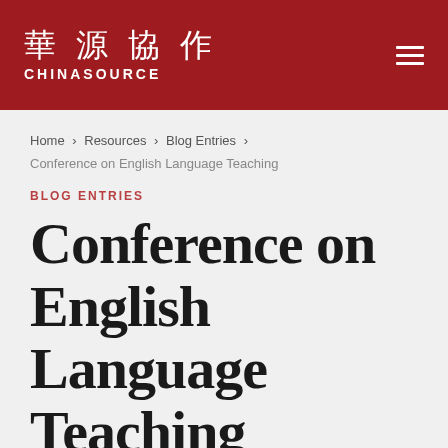華源協作 CHINASOURCE
Home › Resources › Blog Entries › Conference on English Language Teaching
BLOG ENTRIES
Conference on English Language Teaching